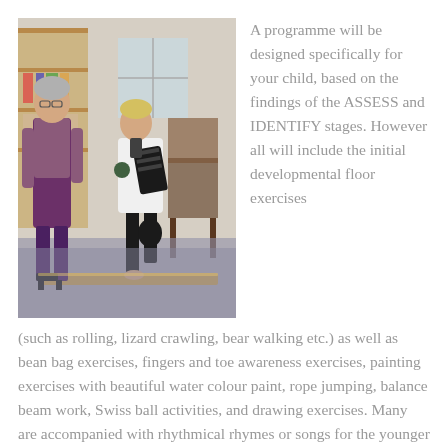[Figure (photo): A woman (adult, short grey hair, wearing glasses and a floral top with purple trousers) stands observing a child (girl, blonde hair, wearing school uniform - white shirt and black trousers) who appears to be balancing on a wooden beam on the floor in a room with bookshelves and a wooden chair in the background.]
A programme will be designed specifically for your child, based on the findings of the ASSESS and IDENTIFY stages. However all will include the initial developmental floor exercises (such as rolling, lizard crawling, bear walking etc.) as well as bean bag exercises, fingers and toe awareness exercises, painting exercises with beautiful water colour paint, rope jumping, balance beam work, Swiss ball activities, and drawing exercises. Many are accompanied with rhythmical rhymes or songs for the younger children to encourage their imagination and...